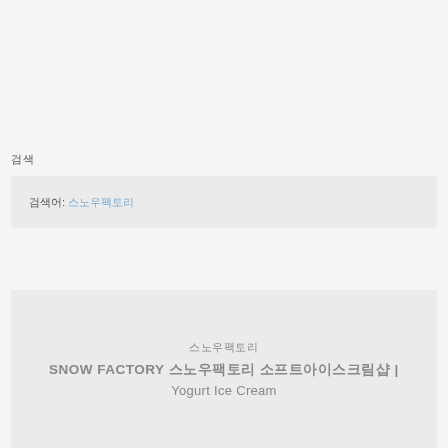검색
검색어: 스노우팩토리
스노우팩토리
SNOW FACTORY 스노우팩토리 소프트아이스크림샵 | Yogurt Ice Cream